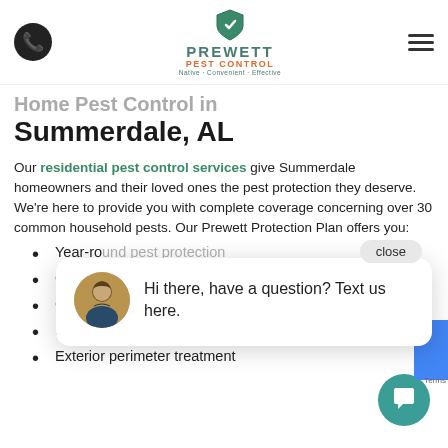Prewett Pest Control — Navigation header with phone icon, logo, and menu
Home Pest Control in Summerdale, AL
Our residential pest control services give Summerdale homeowners and their loved ones the pest protection they deserve. We're here to provide you with complete coverage concerning over 30 common household pests. Our Prewett Protection Plan offers you:
Year-round pest protection
Coverage for over 30 pests
Comprehensive initial inspection
Interior treatment as needed
Exterior perimeter treatment